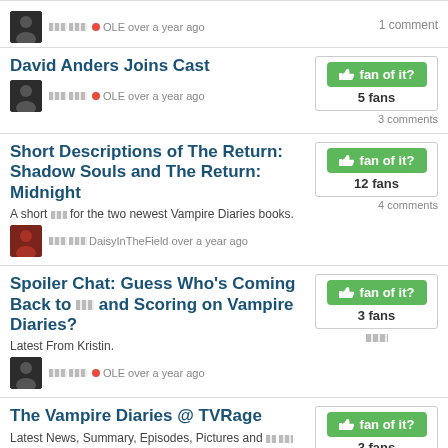1 comment
David Anders Joins Cast
[Figure (other): Fan of it? button with thumbs up icon, green button]
5 fans
3 comments
OLE over a year ago
Short Descriptions of The Return: Shadow Souls and The Return: Midnight
A short [squares] for the two newest Vampire Diaries books.
[Figure (other): Fan of it? button with thumbs up icon, green button]
12 fans
4 comments
DaisyInTheField over a year ago
Spoiler Chat: Guess Who's Coming Back to [squares] and Scoring on Vampire Diaries?
Latest From Kristin.
[Figure (other): Fan of it? button with thumbs up icon, green button]
3 fans
OLE over a year ago
The Vampire Diaries @ TVRage
Latest News, Summary, Episodes, Pictures and [squares]
[Figure (other): Fan of it? button with thumbs up icon, green button]
3 fans
tremorz over a year ago